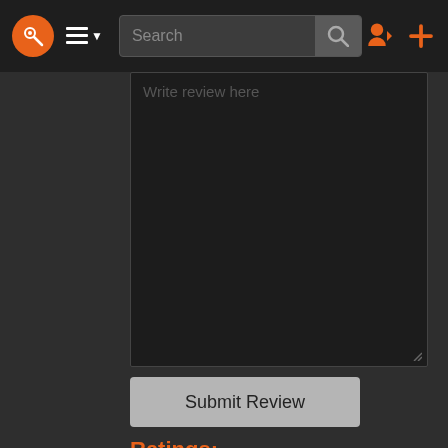[Figure (screenshot): Dark-themed web application navigation bar with logo (orange circle with key icon), hamburger menu, search box, sign-in and add icons in orange]
[Figure (screenshot): Dark text area with placeholder text 'Write review here' and resize handle at bottom right]
Submit Review
Ratings:
★ 1   0% (0)
★ 2   0% (0)
★ 3   0% (0)
★ 4   0% (0)